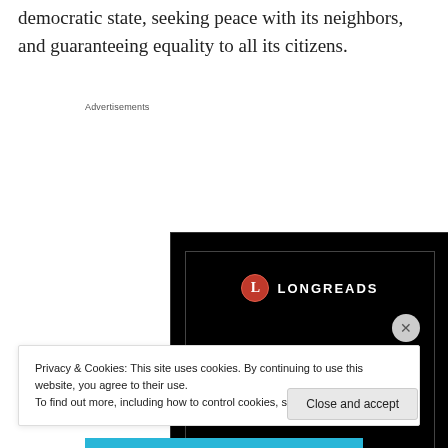democratic state, seeking peace with its neighbors, and guaranteeing equality to all its citizens.
Advertisements
[Figure (illustration): Longreads advertisement banner on black background with red circular logo, text 'Read anything great lately?' and a red 'Start reading' button]
Privacy & Cookies: This site uses cookies. By continuing to use this website, you agree to their use.
To find out more, including how to control cookies, see here: Cookie Policy
Close and accept